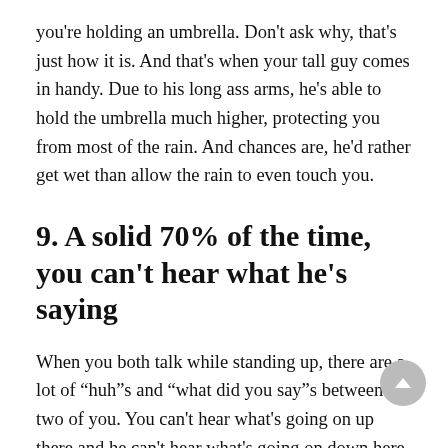you're holding an umbrella. Don't ask why, that's just how it is. And that's when your tall guy comes in handy. Due to his long ass arms, he's able to hold the umbrella much higher, protecting you from most of the rain. And chances are, he'd rather get wet than allow the rain to even touch you.
9. A solid 70% of the time, you can't hear what he's saying
When you both talk while standing up, there are a lot of “huh”s and “what did you say”s between the two of you. You can't hear what's going on up there and he can't hear what's going on down here, at your level, which can be annoying. Compromising is key and good communication between the both of you has a lot to do with the angling of your heads.